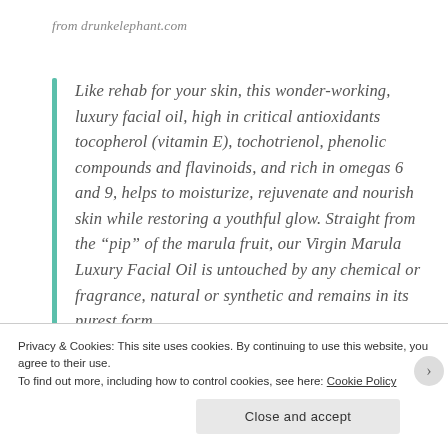from drunkelephant.com
Like rehab for your skin, this wonder-working, luxury facial oil, high in critical antioxidants tocopherol (vitamin E), tochotrienol, phenolic compounds and flavinoids, and rich in omegas 6 and 9, helps to moisturize, rejuvenate and nourish skin while restoring a youthful glow. Straight from the “pip” of the marula fruit, our Virgin Marula Luxury Facial Oil is untouched by any chemical or fragrance, natural or synthetic and remains in its purest form.
Privacy & Cookies: This site uses cookies. By continuing to use this website, you agree to their use.
To find out more, including how to control cookies, see here: Cookie Policy
Close and accept